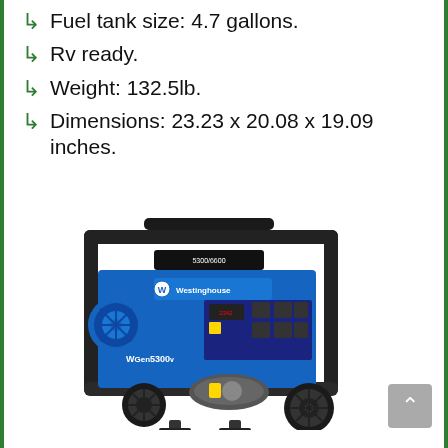Fuel tank size: 4.7 gallons.
Rv ready.
Weight: 132.5lb.
Dimensions: 23.23 x 20.08 x 19.09 inches.
[Figure (photo): Westinghouse WGen5300v portable generator with blue body, black frame, two wheels, and control panel]